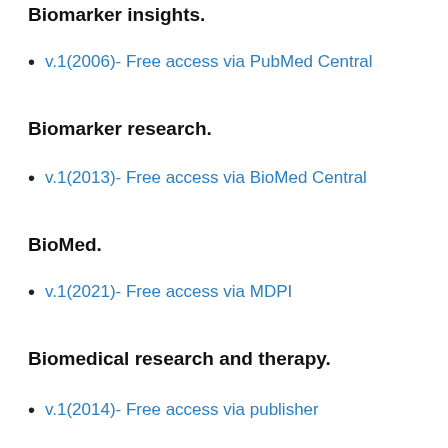Biomarker insights.
v.1(2006)- Free access via PubMed Central
Biomarker research.
v.1(2013)- Free access via BioMed Central
BioMed.
v.1(2021)- Free access via MDPI
Biomedical research and therapy.
v.1(2014)- Free access via publisher